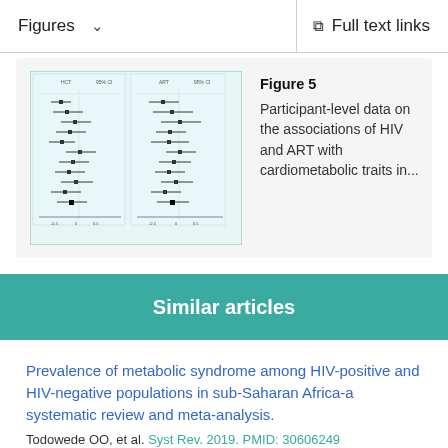Figures  ∨    Full text links
[Figure (other): Thumbnail of Figure 5 showing two forest plot panels for associations of HIV and ART with cardiometabolic traits]
Figure 5
Participant-level data on the associations of HIV and ART with cardiometabolic traits in...
Similar articles
Prevalence of metabolic syndrome among HIV-positive and HIV-negative populations in sub-Saharan Africa-a systematic review and meta-analysis.
Todowede OO, et al. Syst Rev. 2019. PMID: 30606249
Free PMC article.